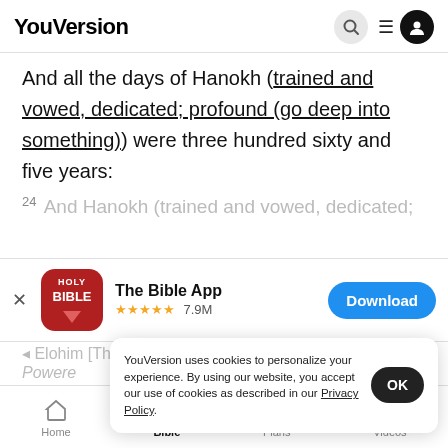YouVersion
And all the days of Hanokh (trained and vowed, dedicated; profound (go deep into something)) were three hundred sixty and five years:
24 And Hanokh (trained and vowed, dedicated;
[Figure (screenshot): App store banner for The Bible App — Holy Bible icon, 5 stars, 7.9M ratings, Download button]
YouVersion uses cookies to personalize your experience. By using our website, you accept our use of cookies as described in our Privacy Policy.
Home | Bible | Plans | Videos